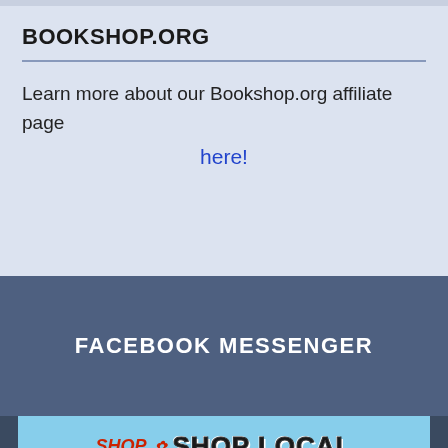BOOKSHOP.ORG
Learn more about our Bookshop.org affiliate page here!
FACEBOOK MESSENGER
[Figure (photo): Shop Local banner image with colorful retro-style text reading SHOP and SHOP LOCAL]